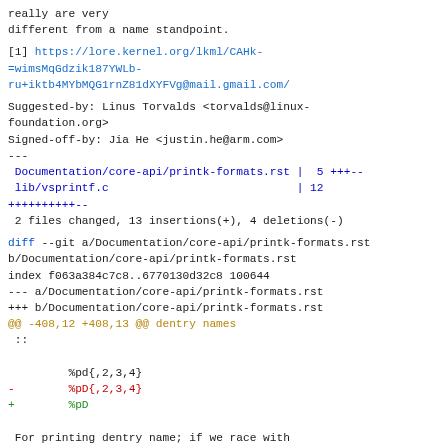really are very
different from a name standpoint.
[1] https://lore.kernel.org/lkml/CAHk-=wimsMqGdzik187YWLb-ru+iktb4MYbMQG1rnZ81dXYFVg@mail.gmail.com/
Suggested-by: Linus Torvalds <torvalds@linux-foundation.org>
Signed-off-by: Jia He <justin.he@arm.com>
---
 Documentation/core-api/printk-formats.rst |  5 +++--
 lib/vsprintf.c                            | 12 ++++++++++--
 2 files changed, 13 insertions(+), 4 deletions(-)
diff --git a/Documentation/core-api/printk-formats.rst b/Documentation/core-api/printk-formats.rst
index f063a384c7c8..6770130d32c8 100644
--- a/Documentation/core-api/printk-formats.rst
+++ b/Documentation/core-api/printk-formats.rst
@@ -408,12 +408,13 @@ dentry names
  ::

          %pd{,2,3,4}
-         %pD{,2,3,4}
+         %pD

 For printing dentry name; if we race with
:c:func:`d_move`, the name might